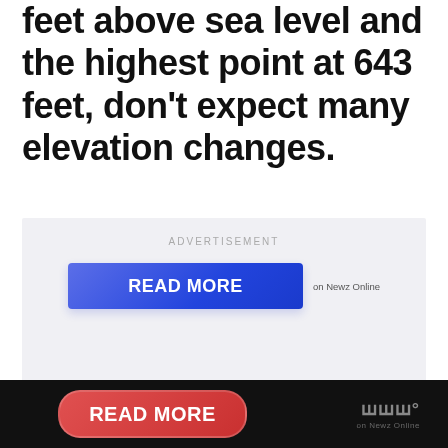feet above sea level and the highest point at 643 feet, don't expect many elevation changes.
[Figure (screenshot): Advertisement block with 'READ MORE' button in blue gradient, labeled ADVERTISEMENT, with 'on Newz Online' text beside the button]
[Figure (screenshot): Bottom navigation bar with red rounded 'READ MORE' button and Newz Online logo on dark background]